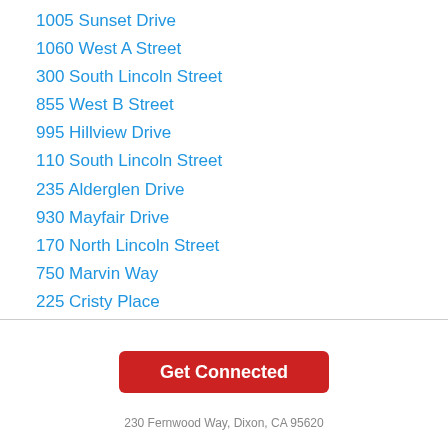1005 Sunset Drive
1060 West A Street
300 South Lincoln Street
855 West B Street
995 Hillview Drive
110 South Lincoln Street
235 Alderglen Drive
930 Mayfair Drive
170 North Lincoln Street
750 Marvin Way
225 Cristy Place
Nearby Cities
Get Connected
230 Fernwood Way, Dixon, CA 95620